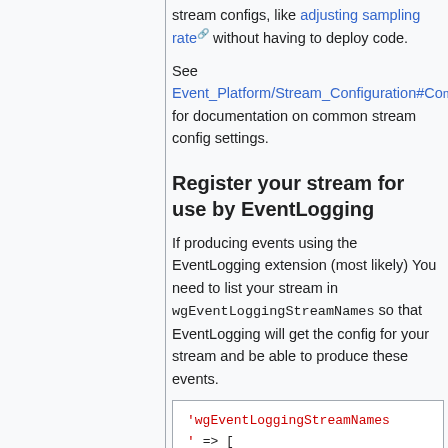stream configs, like adjusting sampling rate without having to deploy code.
See Event_Platform/Stream_Configuration#Co... for documentation on common stream config settings.
Register your stream for use by EventLogging
If producing events using the EventLogging extension (most likely) You need to list your stream in wgEventLoggingStreamNames so that EventLogging will get the config for your stream and be able to produce these events.
'wgEventLoggingStreamNames' => [